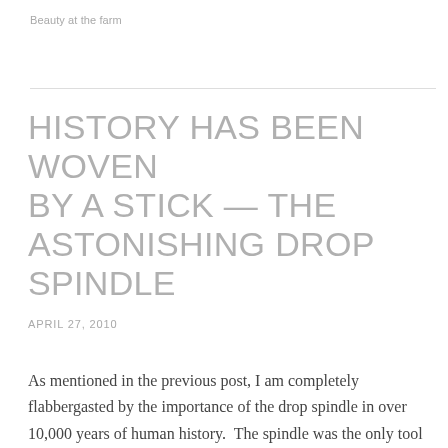Beauty at the farm
HISTORY HAS BEEN WOVEN BY A STICK — THE ASTONISHING DROP SPINDLE
APRIL 27, 2010
As mentioned in the previous post, I am completely flabbergasted by the importance of the drop spindle in over 10,000 years of human history.  The spindle was the only tool for spinning threads and yarns to make